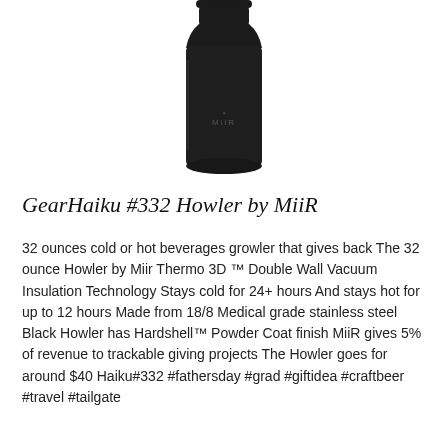[Figure (photo): Black insulated water bottle / growler (MiiR brand) photographed against white background, showing the upper portion of the bottle with a flat cap top and cylindrical body with MiiR logo text visible]
GearHaiku #332 Howler by MiiR
32 ounces cold or hot beverages growler that gives back The 32 ounce Howler by Miir Thermo 3D ™ Double Wall Vacuum Insulation Technology Stays cold for 24+ hours And stays hot for up to 12 hours Made from 18/8 Medical grade stainless steel Black Howler has Hardshell™ Powder Coat finish MiiR gives 5% of revenue to trackable giving projects The Howler goes for around $40 Haiku#332 #fathersday #grad #giftidea #craftbeer #travel #tailgate